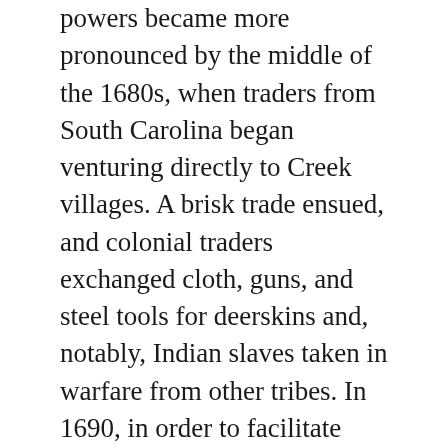powers became more pronounced by the middle of the 1680s, when traders from South Carolina began venturing directly to Creek villages. A brisk trade ensued, and colonial traders exchanged cloth, guns, and steel tools for deerskins and, notably, Indian slaves taken in warfare from other tribes. In 1690, in order to facilitate trade with the South Carolinians, the Chattahoochee towns and allies from among the Tallapoosas and elsewhere moved and relocated their towns on the Ocmulgee and Oconee Rivers in central Georgia. At one such town—Ocmulgee—English traders built a permanent trading post that has been the subject of archaeological investigation. Its remains are contained within the Ocmulgee